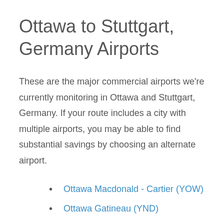Ottawa to Stuttgart, Germany Airports
These are the major commercial airports we're currently monitoring in Ottawa and Stuttgart, Germany. If your route includes a city with multiple airports, you may be able to find substantial savings by choosing an alternate airport.
Ottawa Macdonald - Cartier (YOW)
Ottawa Gatineau (YND)
Stuttgart (STR)